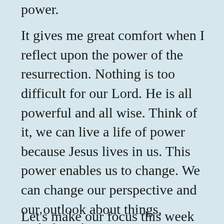power.
It gives me great comfort when I reflect upon the power of the resurrection. Nothing is too difficult for our Lord. He is all powerful and all wise. Think of it, we can live a life of power because Jesus lives in us. This power enables us to change. We can change our perspective and our outlook about things, including the current crisis we are experiencing. We do not have to be filled with fear and anxiety, for Jesus Christ in the power of His resurrection is in control.
Let's make our focus this week to